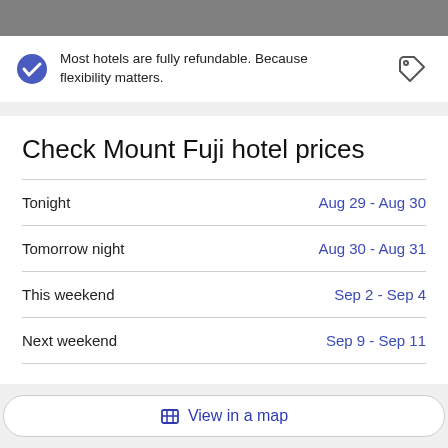Most hotels are fully refundable. Because flexibility matters.
Check Mount Fuji hotel prices
Tonight  Aug 29 - Aug 30
Tomorrow night  Aug 30 - Aug 31
This weekend  Sep 2 - Sep 4
Next weekend  Sep 9 - Sep 11
View in a map